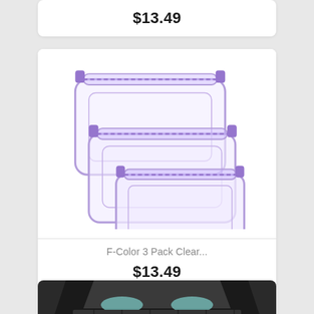$13.49
[Figure (photo): Three clear toiletry/makeup bags with purple zipper trim, different sizes stacked together on white background]
F-Color 3 Pack Clear...
$13.49
[Figure (photo): Rear view of a car with open trunk/hatch, showing interior with car cargo mat]